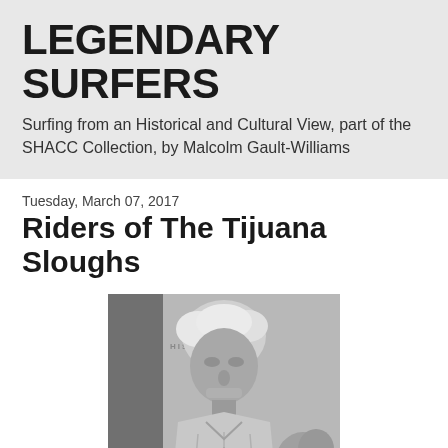LEGENDARY SURFERS
Surfing from an Historical and Cultural View, part of the SHACC Collection, by Malcolm Gault-Williams
Tuesday, March 07, 2017
Riders of The Tijuana Sloughs
[Figure (photo): Black and white photograph of an elderly man with white hair and weathered face, wearing a light-colored shirt, with text 'HISTORY' visible in the background.]